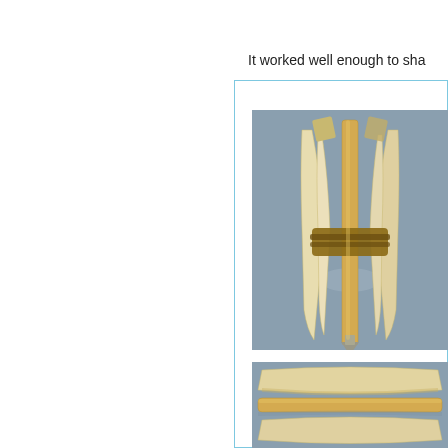It worked well enough to sha
[Figure (photo): Close-up photo of an arrow or dart with multiple pale/cream colored fins/fletchings bound together at the shaft with a brown leather or tape wrap, against a blue-grey background.]
[Figure (photo): Photo showing two cream/pale colored paddle-like objects or arrow components laid side by side on a blue-grey background, viewed from the side.]